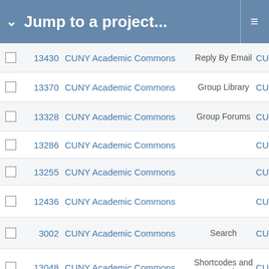Jump to a project...
|  | # | Project | Component |  |
| --- | --- | --- | --- | --- |
| ☐ | 13430 | CUNY Academic Commons | Reply By Email | CU |
| ☐ | 13370 | CUNY Academic Commons | Group Library | CUN |
| ☐ | 13328 | CUNY Academic Commons | Group Forums | CU |
| ☐ | 13286 | CUNY Academic Commons |  | CU |
| ☐ | 13255 | CUNY Academic Commons |  | CU |
| ☐ | 12436 | CUNY Academic Commons |  | CU |
| ☐ | 3002 | CUNY Academic Commons | Search | CUN |
| ☐ | 13048 | CUNY Academic Commons | Shortcodes and embeds | CUN |
| ☐ | 13034 | CUNY Academic Commons |  | CU |